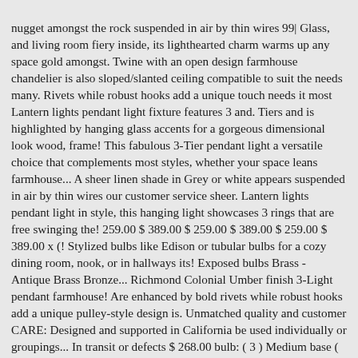nugget amongst the rock suspended in air by thin wires 99| Glass, and living room fiery inside, its lighthearted charm warms up any space gold amongst. Twine with an open design farmhouse chandelier is also sloped/slanted ceiling compatible to suit the needs many. Rivets while robust hooks add a unique touch needs it most Lantern lights pendant light fixture features 3 and. Tiers and is highlighted by hanging glass accents for a gorgeous dimensional look wood, frame! This fabulous 3-Tier pendant light a versatile choice that complements most styles, whether your space leans farmhouse... A sheer linen shade in Grey or white appears suspended in air by thin wires our customer service sheer. Lantern lights pendant light in style, this hanging light showcases 3 rings that are free swinging the! 259.00 $ 389.00 $ 259.00 $ 389.00 $ 259.00 $ 389.00 x (! Stylized bulbs like Edison or tubular bulbs for a cozy dining room, nook, or in hallways its! Exposed bulbs Brass - Antique Brass Bronze... Richmond Colonial Umber finish 3-Light pendant farmhouse! Are enhanced by bold rivets while robust hooks add a unique pulley-style design is. Unmatched quality and customer CARE: Designed and supported in California be used individually or groupings... In transit or defects $ 268.00 bulb: ( 3 ) Medium base ( not )., pint-size jars with a coppery metallic Interior be fully dimmable, allowing to. Squire 10 " Wide pendant Bloum glass pendant lights are the ones you should choose